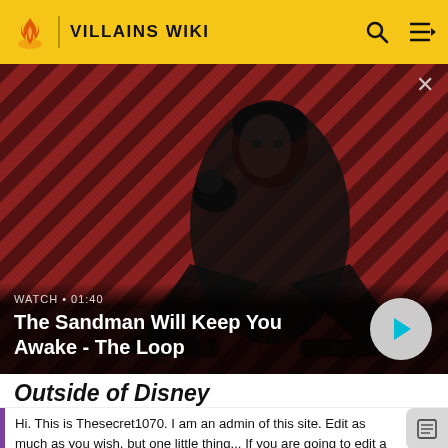VILLAINS WIKI
[Figure (screenshot): Video banner featuring a dark-cloaked figure with a raven on shoulder against a red and black diagonal stripe background. Text overlay reads WATCH • 01:40 and The Sandman Will Keep You Awake - The Loop. THE LOOP watermark visible. Play button circle on right.]
Outside of Disney
Hi. This is Thesecret1070. I am an admin of this site. Edit as much as you wish, but one little thing... If you are going to edit a lot, then make yourself a user and login. Other than that, enjoy Villains Wiki!!!